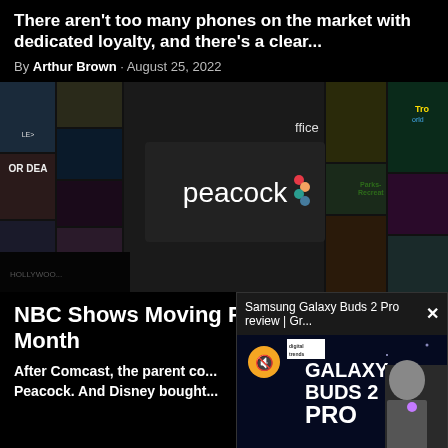There aren't too many phones on the market with dedicated loyalty, and there's a clear...
By Arthur Brown · August 25, 2022
[Figure (photo): Peacock streaming service promotional image showing a grid of show thumbnails and the Peacock logo on a dark background]
NBC Shows Moving P... Month
After Comcast, the parent co... Peacock. And Disney bought...
[Figure (screenshot): Video popup overlay showing Samsung Galaxy Buds 2 Pro review with Digital Trends logo, mute button, and a man holding the earbuds against a dark background with text GALAXY BUDS 2 PRO]